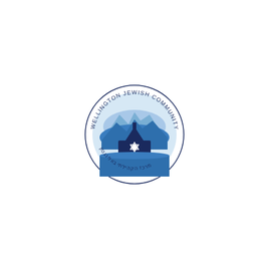[Figure (logo): Wellington Jewish Community Centre circular logo. The outer ring contains the text 'WELLINGTON JEWISH COMMUNITY CENTRE' in dark navy along the top arc, and Hebrew text along the bottom arc. Inside the circle is a scene depicting blue mountains/hills in the background, a dark navy building or synagogue silhouette in the foreground center, with a white Star of David on it.]